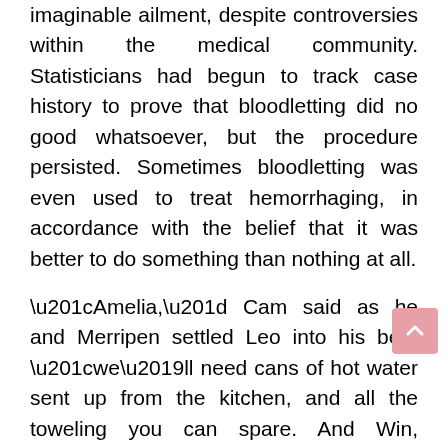imaginable ailment, despite controversies within the medical community. Statisticians had begun to track case history to prove that bloodletting did no good whatsoever, but the procedure persisted. Sometimes bloodletting was even used to treat hemorrhaging, in accordance with the belief that it was better to do something than nothing at all.
“Amelia,” Cam said as he and Merripen settled Leo into his bed, “we’ll need cans of hot water sent up from the kitchen, and all the toweling you can spare. And Win, perhaps you and Beatrix might take Miss Marks to her room and help her?”
[Figure (other): Advertisement banner with blue sky and white clouds background]